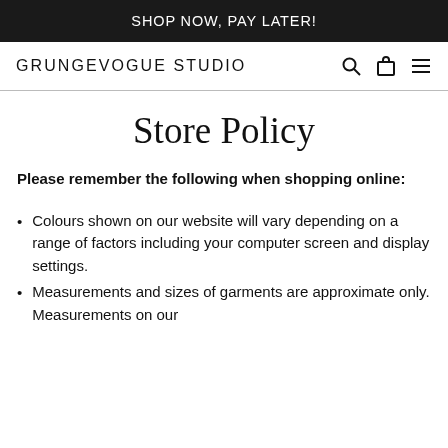SHOP NOW, PAY LATER!
GRUNGEVOGUE STUDIO
Store Policy
Please remember the following when shopping online:
Colours shown on our website will vary depending on a range of factors including your computer screen and display settings.
Measurements and sizes of garments are approximate only. Measurements on our